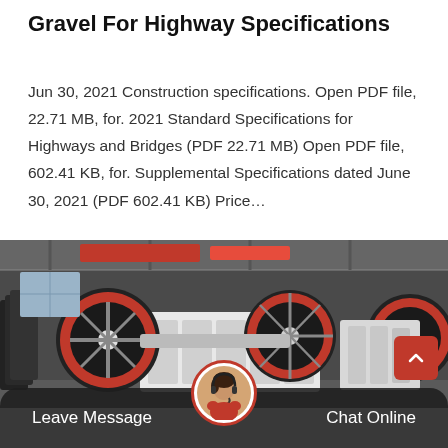Gravel For Highway Specifications
Jun 30, 2021 Construction specifications. Open PDF file, 22.71 MB, for. 2021 Standard Specifications for Highways and Bridges (PDF 22.71 MB) Open PDF file, 602.41 KB, for. Supplemental Specifications dated June 30, 2021 (PDF 602.41 KB) Price…
[Figure (photo): Industrial jaw crusher machinery with large red and black flywheels in a factory setting]
Leave Message   Chat Online